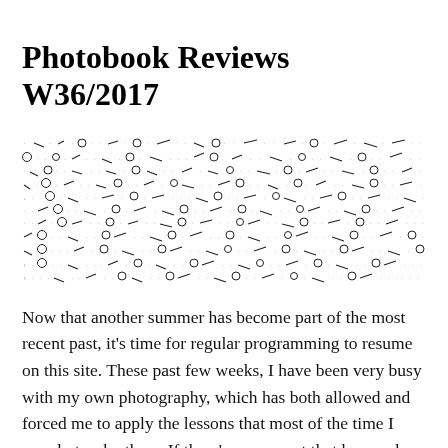Photobook Reviews W36/2017
[Figure (illustration): Decorative pattern of scattered dots, dashes, circles, and small lines arranged in a dense horizontal band across the page]
Now that another summer has become part of the most recent past, it's time for regular programming to resume on this site. These past few weeks, I have been very busy with my own photography, which has both allowed and forced me to apply the lessons that most of the time I merely teach others. If there's one aspect that has made the various (so far quite minor) struggles a bit easier it's the realization that at the end of the day, it's just pictures. Yes, it's really just pictures — you can take the most of or edit (or both these days) b... it'll